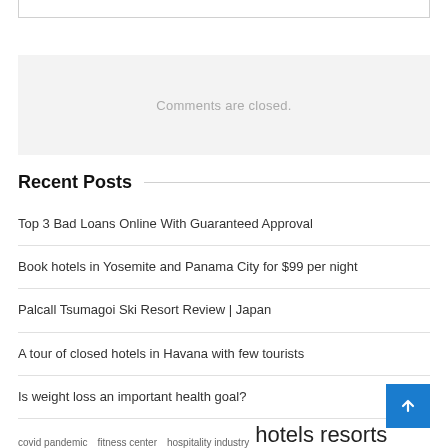Comments are closed.
Recent Posts
Top 3 Bad Loans Online With Guaranteed Approval
Book hotels in Yosemite and Panama City for $99 per night
Palcall Tsumagoi Ski Resort Review | Japan
A tour of closed hotels in Havana with few tourists
Is weight loss an important health goal?
covid pandemic   fitness center   hospitality industry   hotels resorts